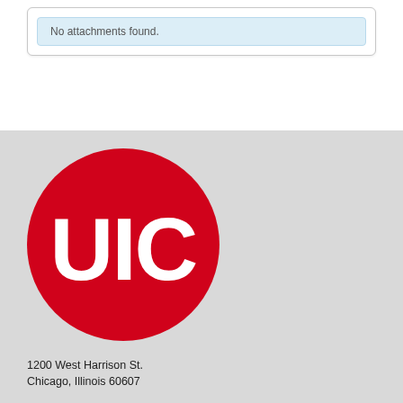No attachments found.
[Figure (logo): UIC (University of Illinois Chicago) logo — white text 'UIC' on a red circle, on a light gray background]
1200 West Harrison St.
Chicago, Illinois 60607